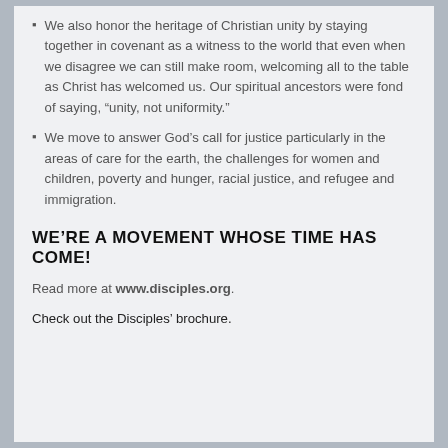We also honor the heritage of Christian unity by staying together in covenant as a witness to the world that even when we disagree we can still make room, welcoming all to the table as Christ has welcomed us. Our spiritual ancestors were fond of saying, “unity, not uniformity.”
We move to answer God’s call for justice particularly in the areas of care for the earth, the challenges for women and children, poverty and hunger, racial justice, and refugee and immigration.
WE’RE A MOVEMENT WHOSE TIME HAS COME!
Read more at www.disciples.org.
Check out the Disciples’ brochure.